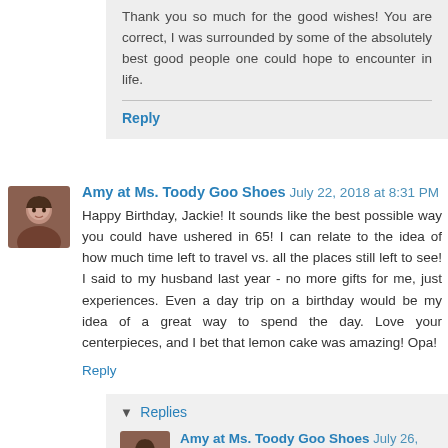Thank you so much for the good wishes! You are correct, I was surrounded by some of the absolutely best good people one could hope to encounter in life.
Reply
Amy at Ms. Toody Goo Shoes  July 22, 2018 at 8:31 PM
Happy Birthday, Jackie! It sounds like the best possible way you could have ushered in 65! I can relate to the idea of how much time left to travel vs. all the places still left to see! I said to my husband last year - no more gifts for me, just experiences. Even a day trip on a birthday would be my idea of a great way to spend the day. Love your centerpieces, and I bet that lemon cake was amazing! Opa!
Reply
▼  Replies
Amy at Ms. Toody Goo Shoes  July 26, 2018 at